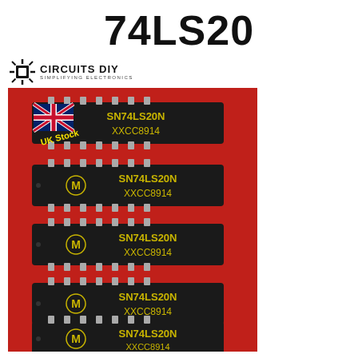74LS20
[Figure (logo): Circuits DIY logo - SIMPLIFYING ELECTRONICS]
[Figure (photo): Photo of five SN74LS20N DIP IC chips labeled SN74LS20N XXCC8914 on a red background, with a UK flag sticker and 'UK Stock' text on the top chip]